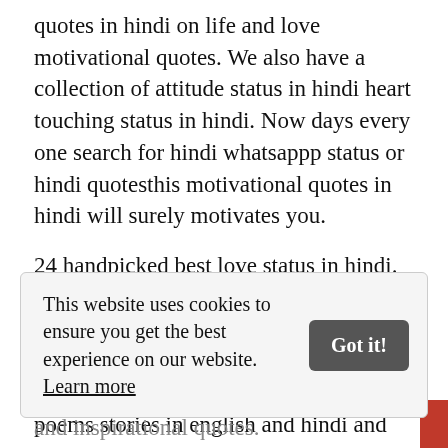quotes in hindi on life and love motivational quotes. We also have a collection of attitude status in hindi heart touching status in hindi. Now days every one search for hindi whatsappp status or hindi quotesthis motivational quotes in hindi will surely motivates you.
24 handpicked best love status in hindi. 22 best and popular love quotes in hindi. Best collection and favorite inspiring quotes pictures messages thoughts suvichar anmol vachan motivating poems stories in english and hindi and motivational messages thoughts provoking famous
This website uses cookies to ensure you get the best experience on our website. Learn more
and inspirational quotes.